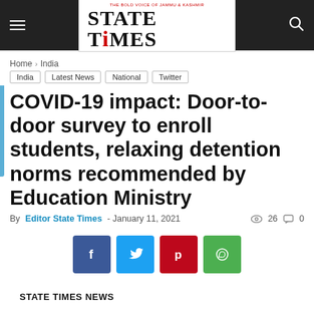STATE TIMES — THE BOLD VOICE OF JAMMU & KASHMIR
Home > India
India
Latest News
National
Twitter
COVID-19 impact: Door-to-door survey to enroll students, relaxing detention norms recommended by Education Ministry
By Editor State Times - January 11, 2021  26  0
[Figure (infographic): Social media share buttons: Facebook (f), Twitter (bird), Pinterest (p), WhatsApp (phone)]
STATE TIMES NEWS